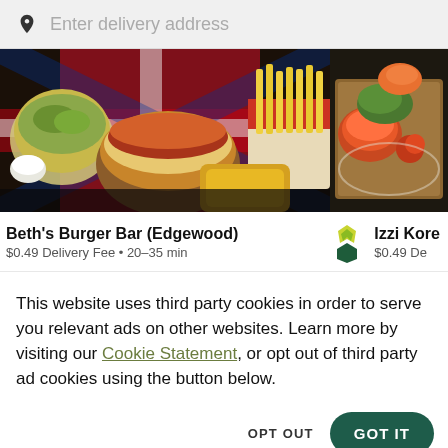Enter delivery address
[Figure (photo): Overhead food photo showing burgers, fries, and various dishes on a table with a UK flag tablecloth; partially cropped photo of sushi/Korean food on the right]
Beth's Burger Bar (Edgewood)
$0.49 Delivery Fee · 20-35 min
[Figure (logo): Postmates / delivery service logo with dark green hexagon and yellow/green leaf icon]
Izzi Kore
$0.49 De
This website uses third party cookies in order to serve you relevant ads on other websites. Learn more by visiting our Cookie Statement, or opt out of third party ad cookies using the button below.
OPT OUT
GOT IT